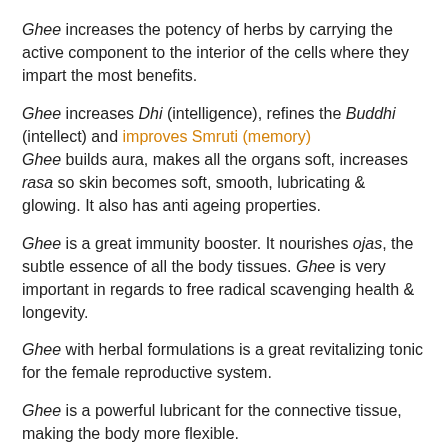Ghee increases the potency of herbs by carrying the active component to the interior of the cells where they impart the most benefits.
Ghee increases Dhi (intelligence), refines the Buddhi (intellect) and improves Smruti (memory)
Ghee builds aura, makes all the organs soft, increases rasa so skin becomes soft, smooth, lubricating & glowing. It also has anti ageing properties.
Ghee is a great immunity booster. It nourishes ojas, the subtle essence of all the body tissues. Ghee is very important in regards to free radical scavenging health & longevity.
Ghee with herbal formulations is a great revitalizing tonic for the female reproductive system.
Ghee is a powerful lubricant for the connective tissue, making the body more flexible.
Herbal Ghee is considered as medicine for treating various kinds of...